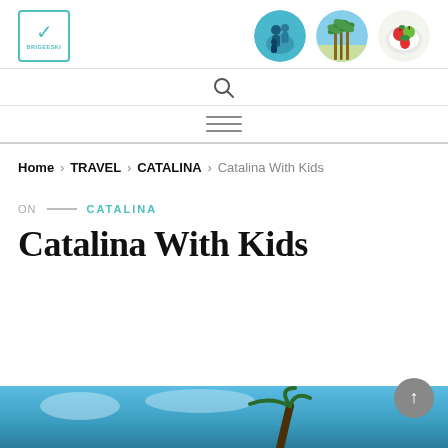[Figure (logo): BrigeeSki website logo: teal square with checkmark and text BRIGEESKI]
[Figure (photo): Three circular navigation images: family/people in teal, palm trees with sky, fruit/food on white plate]
[Figure (other): Search icon (magnifying glass)]
[Figure (other): Hamburger menu icon (three horizontal lines)]
Home > TRAVEL > CATALINA > Catalina With Kids
ON — CATALINA
Catalina With Kids
[Figure (photo): Bottom photo strip showing blue sky and palm tree top]